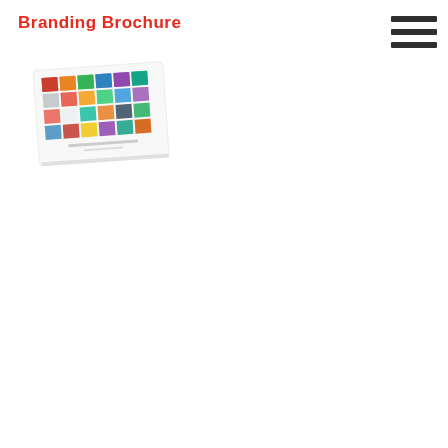Branding Brochure
[Figure (photo): A tilted brochure lying flat, showing a colorful grid of photos and icons on its cover, with a white background and slight shadow.]